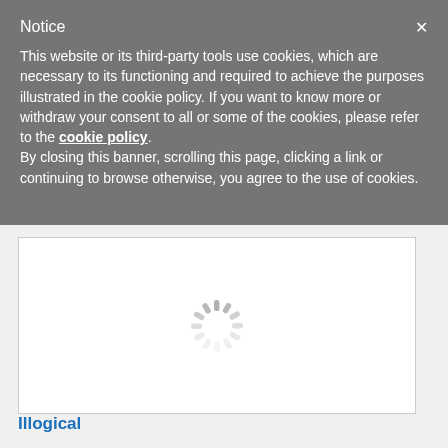Notice
This website or its third-party tools use cookies, which are necessary to its functioning and required to achieve the purposes illustrated in the cookie policy. If you want to know more or withdraw your consent to all or some of the cookies, please refer to the cookie policy.
By closing this banner, scrolling this page, clicking a link or continuing to browse otherwise, you agree to the use of cookies.
[Figure (screenshot): White content box with a loading spinner (circular dashed spinner icon) centered within it, on a light gray background]
Illogical